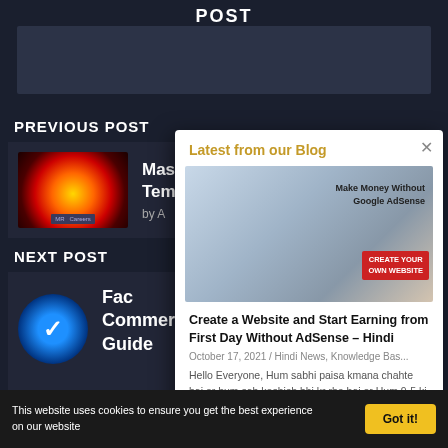POST
PREVIOUS POST
Mas... Tem... by A...
NEXT POST
Fac... Commerce: The Complete Guide
Latest from our Blog
[Figure (photo): Laptop with hands typing, coffee cup, text: Make Money Without Google AdSense, CREATE YOUR OWN WEBSITE button]
Create a Website and Start Earning from First Day Without AdSense – Hindi
October 17, 2021 / Hindi News, Knowledge Bas...
Hello Everyone, Hum sabhi paisa kmana chahte hai or hum sab koshish bhi kr rhe hai or Hum 9-5 ki jobs ke alawa hmare pass koi opti...
Read More
This website uses cookies to ensure you get the best experience on our website
Got it!